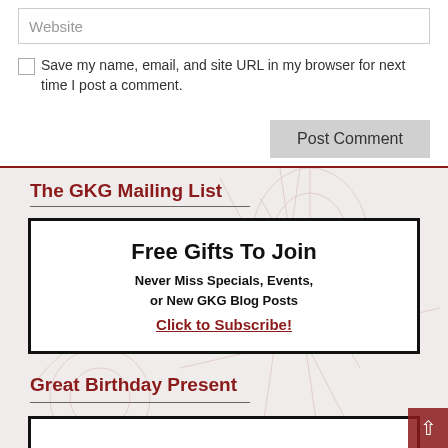Website
Save my name, email, and site URL in my browser for next time I post a comment.
Post Comment
The GKG Mailing List
Free Gifts To Join
Never Miss Specials, Events, or New GKG Blog Posts
Click to Subscribe!
Great Birthday Present